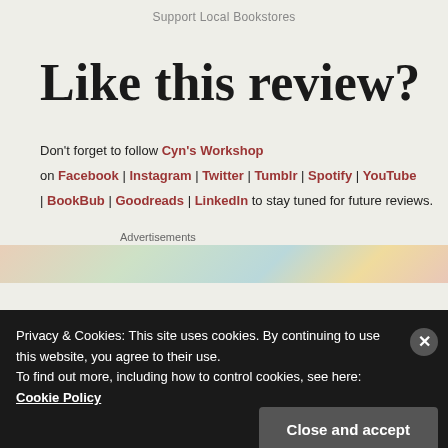Support Local Bookstores
Like this review?
Don't forget to follow Cyn's Workshop on Facebook | Instagram | Twitter | Tumblr | Spotify | YouTube | BookBub | Goodreads | LinkedIn to stay tuned for future reviews.
Advertisements
Privacy & Cookies: This site uses cookies. By continuing to use this website, you agree to their use. To find out more, including how to control cookies, see here: Cookie Policy
Close and accept